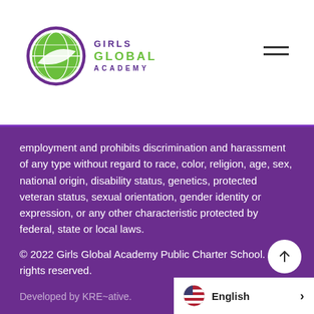[Figure (logo): Girls Global Academy logo — globe icon in purple circle with green landmass, text reading GIRLS GLOBAL ACADEMY]
employment and prohibits discrimination and harassment of any type without regard to race, color, religion, age, sex, national origin, disability status, genetics, protected veteran status, sexual orientation, gender identity or expression, or any other characteristic protected by federal, state or local laws.
© 2022 Girls Global Academy Public Charter School. All rights reserved.
Developed by KRE~ative.